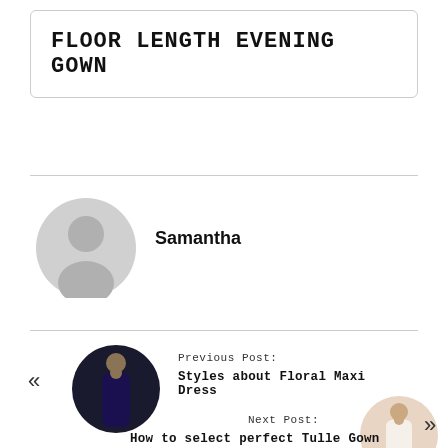FLOOR LENGTH EVENING GOWN
[Figure (illustration): Gray circular avatar/profile placeholder icon showing a silhouette of a person]
Samantha
Previous Post:
[Figure (photo): Thumbnail photo of a woman wearing a dark floral maxi dress]
Styles about Floral Maxi Dress
Next Post:
[Figure (photo): Thumbnail photo of a woman in a white tulle gown]
How to select perfect Tulle Gown